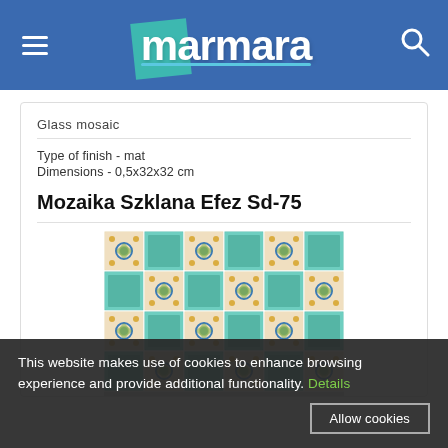marmara
Glass mosaic
Type of finish - mat
Dimensions - 0,5x32x32 cm
Mozaika Szklana Efez Sd-75
[Figure (photo): Glass mosaic tile product photo showing decorative teal and patterned tiles arranged in a grid pattern]
This website makes use of cookies to enhance browsing experience and provide additional functionality. Details
Allow cookies